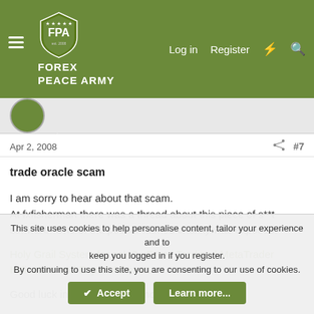[Figure (screenshot): Forex Peace Army website header with green background, FPA shield logo, FOREX PEACE ARMY text, hamburger menu icon, Log in, Register, lightning bolt, and search icons]
Apr 2, 2008   #7
trade oracle scam

I am sorry to hear about that scam.
At fxfisherman there was a thread about this piece of s**t software. One of the pusher named chukky was exposed.

Holy Grail System for sale? - Forex Trading | MetaTrader Indicators and Expert Advisors

Good luck in retrieving your money.
This site uses cookies to help personalise content, tailor your experience and to keep you logged in if you register.
By continuing to use this site, you are consenting to our use of cookies.